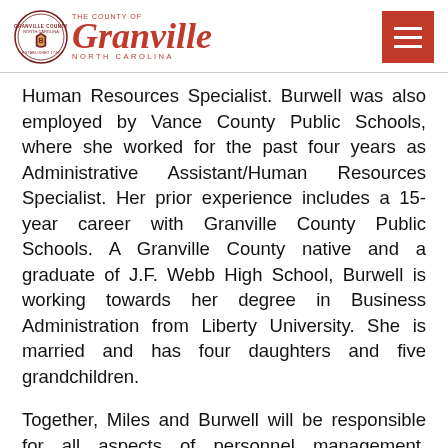The County of Granville, North Carolina
Human Resources Specialist. Burwell was also employed by Vance County Public Schools, where she worked for the past four years as Administrative Assistant/Human Resources Specialist. Her prior experience includes a 15-year career with Granville County Public Schools. A Granville County native and a graduate of J.F. Webb High School, Burwell is working towards her degree in Business Administration from Liberty University. She is married and has four daughters and five grandchildren.
Together, Miles and Burwell will be responsible for all aspects of personnel management, administering all County-sponsored employee